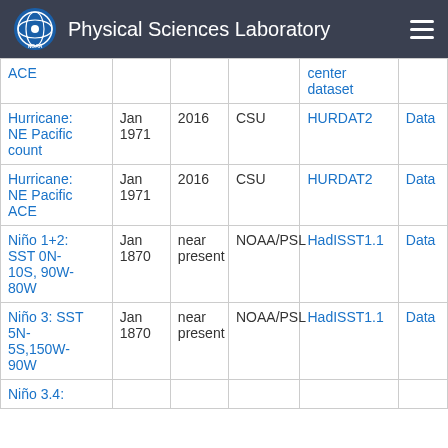Physical Sciences Laboratory
| Name | Start | End | Source | Dataset | Link |
| --- | --- | --- | --- | --- | --- |
| ACE |  |  |  | center dataset |  |
| Hurricane: NE Pacific count | Jan 1971 | 2016 | CSU | HURDAT2 | Data |
| Hurricane: NE Pacific ACE | Jan 1971 | 2016 | CSU | HURDAT2 | Data |
| Niño 1+2: SST 0N-10S, 90W-80W | Jan 1870 | near present | NOAA/PSL | HadISST1.1 | Data |
| Niño 3: SST 5N-5S,150W-90W | Jan 1870 | near present | NOAA/PSL | HadISST1.1 | Data |
| Niño 3.4: |  |  |  |  |  |